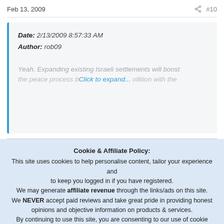Feb 13, 2009   #10
Date: 2/13/2009 8:57:33 AM
Author: rob09
Yeah. Expanding existing Israeli settlements will boost … Click to expand…
Cookie & Affiliate Policy:
This site uses cookies to help personalise content, tailor your experience and to keep you logged in if you have registered.
We may generate affiliate revenue through the links/ads on this site.
We NEVER accept paid reviews and take great pride in providing honest opinions and objective information on products & services.
By continuing to use this site, you are consenting to our use of cookie policy.
✓ Accept   Learn more…